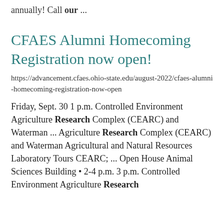annually! Call our ...
CFAES Alumni Homecoming Registration now open!
https://advancement.cfaes.ohio-state.edu/august-2022/cfaes-alumni-homecoming-registration-now-open
Friday, Sept. 30 1 p.m. Controlled Environment Agriculture Research Complex (CEARC) and Waterman ... Agriculture Research Complex (CEARC) and Waterman Agricultural and Natural Resources Laboratory Tours CEARC; ... Open House Animal Sciences Building • 2-4 p.m. 3 p.m. Controlled Environment Agriculture Research